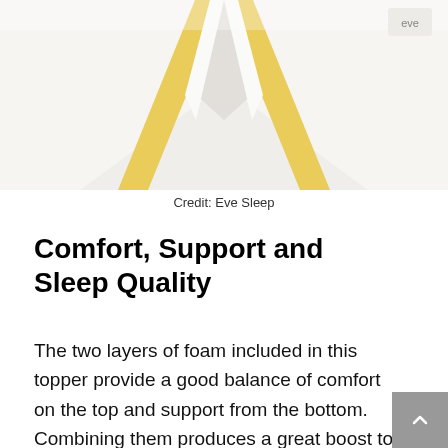[Figure (photo): Close-up photo of a mattress topper corner showing white and yellow foam layers folded back, set against a light background. Credit: Eve Sleep.]
Credit: Eve Sleep
Comfort, Support and Sleep Quality
The two layers of foam included in this topper provide a good balance of comfort on the top and support from the bottom. Combining them produces a great boost to your existing mattress and is sure to help